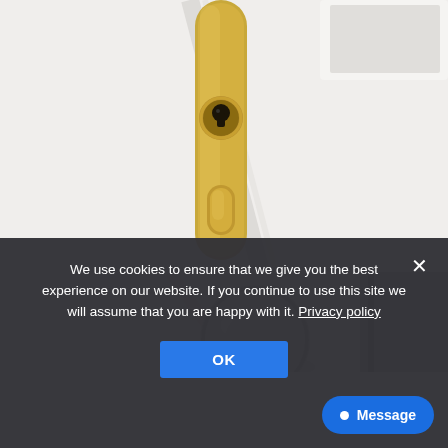[Figure (photo): Close-up photo of a gold/brass door lock escutcheon plate with keyhole on a white door]
[Figure (photo): Partial photo of a white door with a round silver/chrome door knob and grey door frame visible]
We use cookies to ensure that we give you the best experience on our website. If you continue to use this site we will assume that you are happy with it. Privacy policy
OK
Message